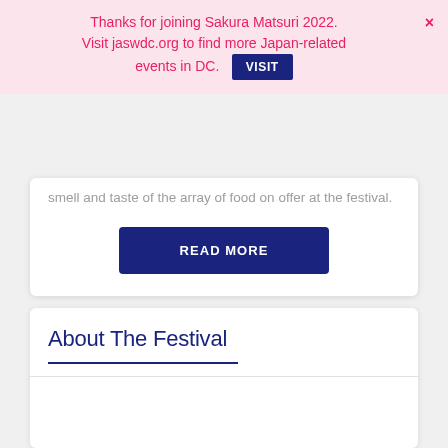Thanks for joining Sakura Matsuri 2022. Visit jaswdc.org to find more Japan-related events in DC.
smell and taste of the array of food on offer at the festival.
READ MORE
About The Festival
Merchandise